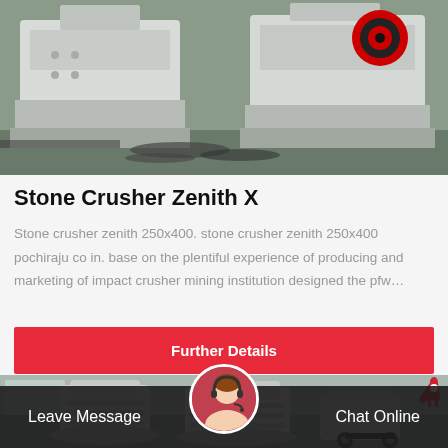[Figure (photo): Industrial stone crusher machinery in a warehouse setting, white/grey equipment with red circular elements, chains on floor]
Stone Crusher Zenith X
Stone crusher zenith 250x400. stone crusher zenith 250x400 pochiraju co in. base on the plentiful experience of producing and marketing of impact crusher mining institution designed the pfw…
Further Details
[Figure (photo): Industrial cone crusher / vertical shaft impactor machinery in a factory, white and grey large equipment]
Leave Message
Chat Online